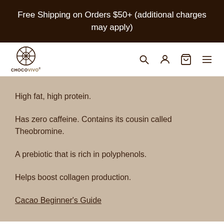Free Shipping on Orders $50+ (additional charges may apply)
[Figure (logo): ChocoVivo logo: circular wheel/cacao bean icon above the text CHOCOVIVO]
High fat, high protein.
Has zero caffeine. Contains its cousin called Theobromine.
A prebiotic that is rich in polyphenols.
Helps boost collagen production.
Cacao Beginner's Guide